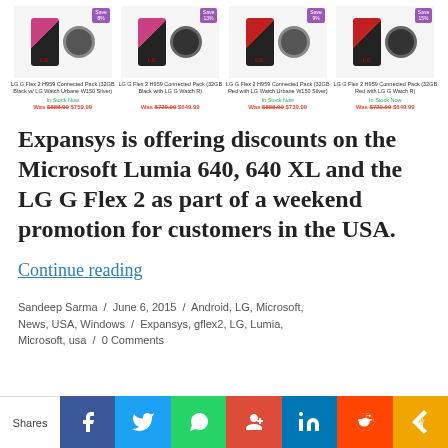[Figure (photo): Four LG G Flex 2 H959 Connected Pack product images with save badges, prices, and in-stock status]
Expansys is offering discounts on the Microsoft Lumia 640, 640 XL and the LG G Flex 2 as part of a weekend promotion for customers in the USA.
Continue reading
Sandeep Sarma / June 6, 2015 / Android, LG, Microsoft, News, USA, Windows / Expansys, gflex2, LG, Lumia, Microsoft, usa / 0 Comments
[Figure (infographic): Social share bar with Facebook, Twitter, WhatsApp, Google+, LinkedIn, Reddit, and More buttons]